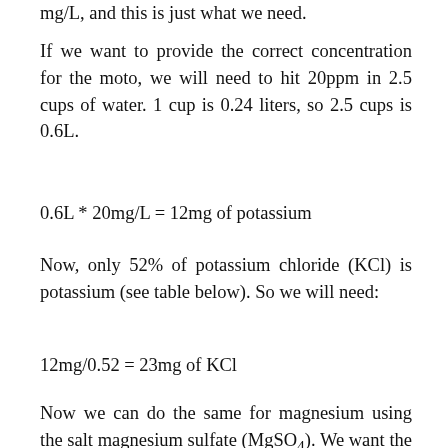mg/L, and this is just what we need.
If we want to provide the correct concentration for the moto, we will need to hit 20ppm in 2.5 cups of water. 1 cup is 0.24 liters, so 2.5 cups is 0.6L.
Now, only 52% of potassium chloride (KCl) is potassium (see table below). So we will need:
Now we can do the same for magnesium using the salt magnesium sulfate (MgSO4). We want the water to have 5.6ppm of magnesium but it